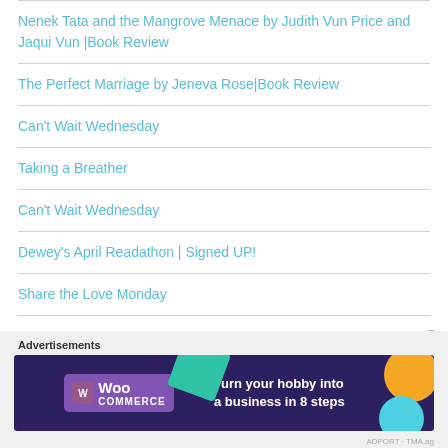Nenek Tata and the Mangrove Menace by Judith Vun Price and Jaqui Vun |Book Review
The Perfect Marriage by Jeneva Rose|Book Review
Can't Wait Wednesday
Taking a Breather
Can't Wait Wednesday
Dewey's April Readathon | Signed UP!
Share the Love Monday
Advertisements
[Figure (other): WooCommerce advertisement banner: dark purple background with teal and orange decorative shapes. WooCommerce logo on left, text 'Turn your hobby into a business in 8 steps' on right.]